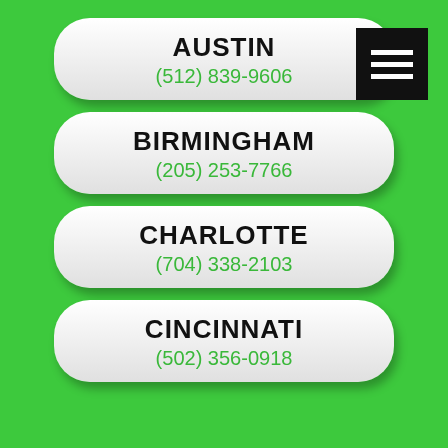AUSTIN
(512) 839-9606
BIRMINGHAM
(205) 253-7766
CHARLOTTE
(704) 338-2103
CINCINNATI
(502) 356-0918